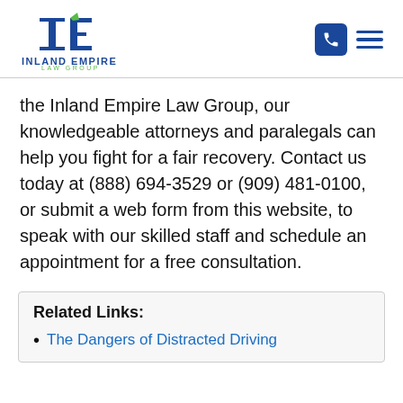Inland Empire Law Group
the Inland Empire Law Group, our knowledgeable attorneys and paralegals can help you fight for a fair recovery. Contact us today at (888) 694-3529 or (909) 481-0100, or submit a web form from this website, to speak with our skilled staff and schedule an appointment for a free consultation.
Related Links:
The Dangers of Distracted Driving